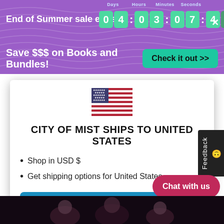End of Summer sale ends in 04:03:07:4 | Save $$$ on Books and Bundles! | Check it out >>
[Figure (illustration): US flag icon]
CITY OF MIST SHIPS TO UNITED STATES
Shop in USD $
Get shipping options for United States
Shop now
Change shipping country
Chat with us
[Figure (illustration): Dark fantasy characters at bottom of page]